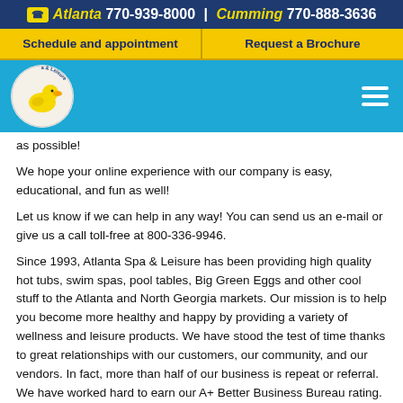Atlanta 770-939-8000 | Cumming 770-888-3636
Schedule and appointment  |  Request a Brochure
[Figure (logo): Atlanta Spa & Leisure circular logo with yellow rubber duck]
as possible!
We hope your online experience with our company is easy, educational, and fun as well!
Let us know if we can help in any way! You can send us an e-mail or give us a call toll-free at 800-336-9946.
Since 1993, Atlanta Spa & Leisure has been providing high quality hot tubs, swim spas, pool tables, Big Green Eggs and other cool stuff to the Atlanta and North Georgia markets. Our mission is to help you become more healthy and happy by providing a variety of wellness and leisure products. We have stood the test of time thanks to great relationships with our customers, our community, and our vendors. In fact, more than half of our business is repeat or referral. We have worked hard to earn our A+ Better Business Bureau rating.